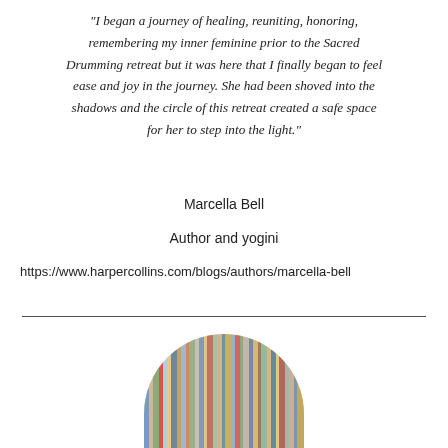"I began a journey of healing, reuniting, honoring, remembering my inner feminine prior to the Sacred Drumming retreat but it was here that I finally began to feel ease and joy in the journey. She had been shoved into the shadows and the circle of this retreat created a safe space for her to step into the light."
Marcella Bell
Author and yogini
https://www.harpercollins.com/blogs/authors/marcella-bell
[Figure (photo): Circular cropped photo (top half visible) showing books on a shelf, viewed from the side — a bookshelf with colorful spines visible.]